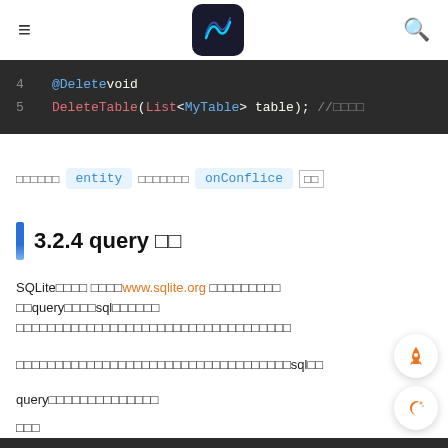≡  [Z logo]  🔍
[Figure (screenshot): Code block showing lines 4 and 5: '@Deletevoid' and 'DeleteTable(List<MyTable> table); //comment']
□□□□□□  entity  □□□□□□□  onConflice  □□
3.2.4 query □□
SQLite□□□□ □□□□www.sqlite.org □□□□□□□□□ □□query□□□□sql□□□□□□
□□□□□□□□□□□□□□□□□□□□□□□□□□□□□□□□□□□
□□□□□□□□□□□□□□□□□□□□□□□□□□□□□□□□□□□sql□□
query□□□□□□□□□□□□□□
□□□